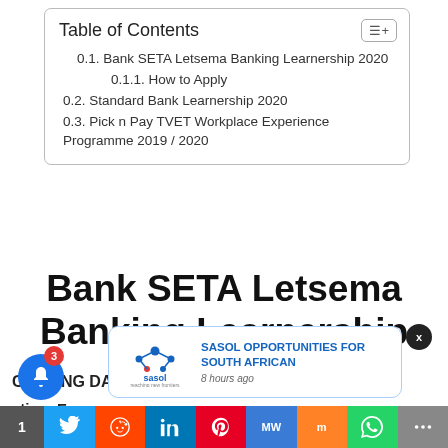Table of Contents
0.1. Bank SETA Letsema Banking Learnership 2020
0.1.1. How to Apply
0.2. Standard Bank Learnership 2020
0.3. Pick n Pay TVET Workplace Experience Programme 2019 / 2020
Bank SETA Letsema Banking Learnership 2020
CLOSING DA...
ation: Ea...
[Figure (logo): Sasol logo with 'reaching new frontiers' tagline]
SASOL OPPORTUNITIES FOR SOUTH AFRICAN
8 hours ago
1 [social share buttons: Twitter, Reddit, LinkedIn, Pinterest, MW, Mix, WhatsApp, More]